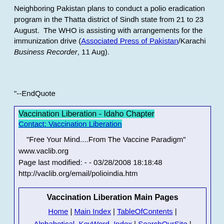Neighboring Pakistan plans to conduct a polio eradication program in the Thatta district of Sindh state from 21 to 23 August. The WHO is assisting with arrangements for the immunization drive (Associated Press of Pakistan/Karachi Business Recorder, 11 Aug).
"--EndQuote
Vaccination Liberation - Idaho Chapter
Contact: Vaccination Liberation

"Free Your Mind....From The Vaccine Paradigm"
www.vaclib.org
Page last modified: - - 03/28/2008 18:18:48
http://vaclib.org/email/polioindia.htm
Vaccination Liberation Main Pages
Home | Main Index | TableOfContents | Alphabetical_KeyWord_Index | SearchOurSite | Contact-VacLib